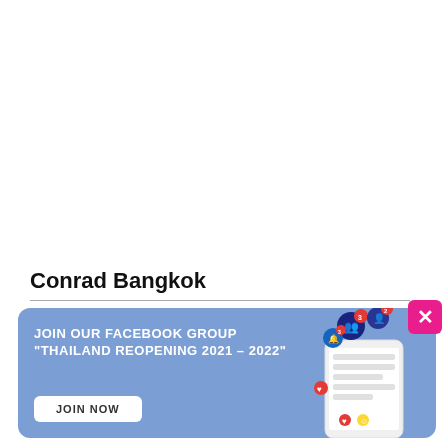Conrad Bangkok
[Figure (infographic): Facebook group promotional banner with blue background. Text: JOIN OUR FACEBOOK GROUP "THAILAND REOPENING 2021 – 2022". JOIN NOW button. Phone illustration with social media notification icons. Pink X close button in top right corner.]